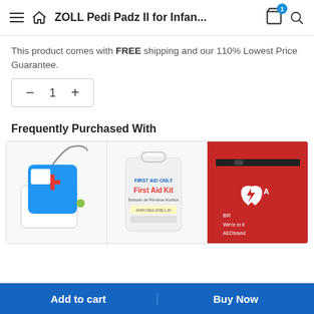ZOLL Pedi Padz II for Infan...
This product comes with FREE shipping and our 110% Lowest Price Guarantee.
[Figure (screenshot): Quantity selector showing minus button, 1, plus button in a rounded rectangle]
Frequently Purchased With
[Figure (photo): Three product cards side by side: AED electrode pads, First Aid Kit container, and a red AED brand pouch]
Add to cart | Buy Now